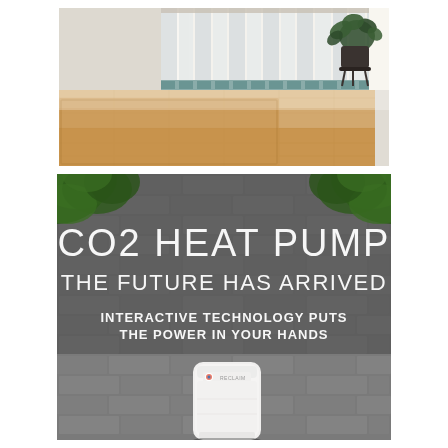[Figure (photo): Interior room photo showing sheer white curtains hanging by a window with light flooding in, a potted plant in the corner, and polished wooden floorboards.]
[Figure (photo): Promotional advertisement for a CO2 Heat Pump product. Dark grey brick/tile wall background with green foliage in top corners. Large white text reads 'CO2 HEAT PUMP THE FUTURE HAS ARRIVED'. Smaller white text below reads 'INTERACTIVE TECHNOLOGY PUTS THE POWER IN YOUR HANDS'. A white cylindrical heat pump unit (Reclaim branded) is visible in the lower portion of the image.]